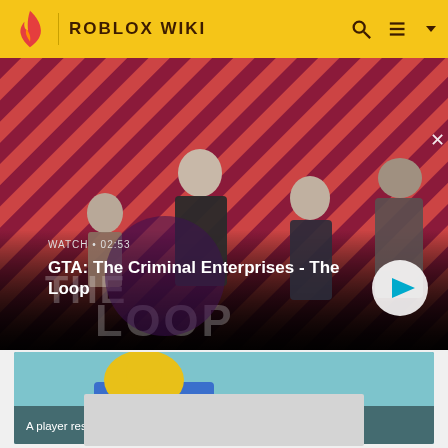ROBLOX WIKI
[Figure (screenshot): GTA: The Criminal Enterprises - The Loop video thumbnail showing characters against a red striped background, with WATCH • 02:53 label and play button]
GTA: The Criminal Enterprises - The Loop
[Figure (screenshot): Second video thumbnail showing a yellow rubber duck character with blue background]
A player resetting. Roblox Death Sound (Oof)
[Figure (other): Gray advertisement placeholder rectangle at bottom of page]